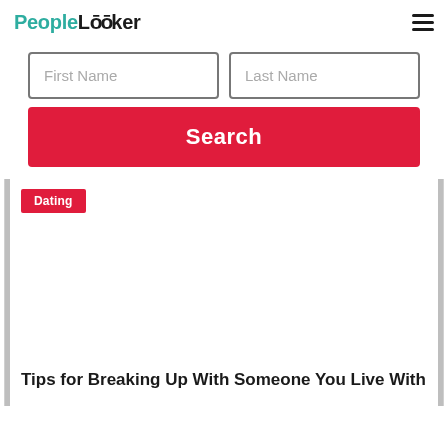[Figure (logo): PeopleLooker logo with teal 'People' text and dark 'LOOker' text]
[Figure (other): Hamburger menu icon (three horizontal lines)]
First Name
Last Name
Search
Dating
[Figure (photo): Article image placeholder (white/blank area)]
Tips for Breaking Up With Someone You Live With